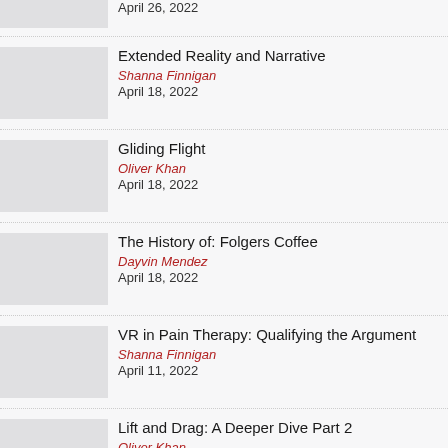April 26, 2022
Extended Reality and Narrative
Shanna Finnigan
April 18, 2022
Gliding Flight
Oliver Khan
April 18, 2022
The History of: Folgers Coffee
Dayvin Mendez
April 18, 2022
VR in Pain Therapy: Qualifying the Argument
Shanna Finnigan
April 11, 2022
Lift and Drag: A Deeper Dive Part 2
Oliver Khan